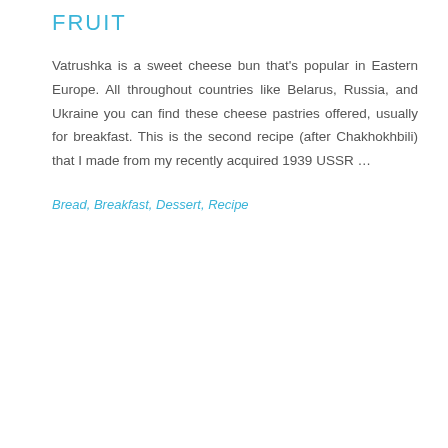FRUIT
Vatrushka is a sweet cheese bun that's popular in Eastern Europe. All throughout countries like Belarus, Russia, and Ukraine you can find these cheese pastries offered, usually for breakfast. This is the second recipe (after Chakhokhbili) that I made from my recently acquired 1939 USSR …
Bread, Breakfast, Dessert, Recipe